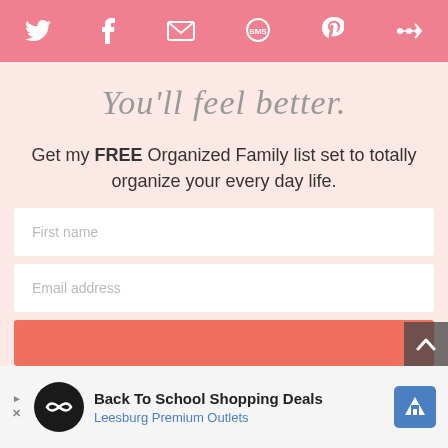[Figure (screenshot): Pink social sharing bar with icons: Twitter, Facebook, Email/envelope, SMS, Pinterest, and more/share button — white icons on salmon/pink background]
You'll feel better.
Get my FREE Organized Family list set to totally organize your every day life.
[Figure (screenshot): Web form with two white input fields labeled 'First name' and 'Email address', followed by a coral/salmon submit button, on a light pink background]
[Figure (screenshot): Advertisement banner: Back To School Shopping Deals — Leesburg Premium Outlets, with logo and navigation arrow icon]